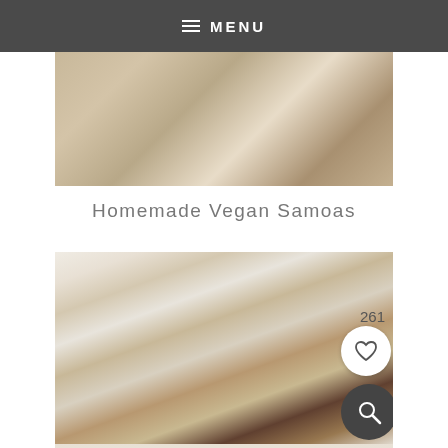≡ MENU
[Figure (photo): Close-up food photo showing chocolate and baked goods being prepared on a white surface]
Homemade Vegan Samoas
[Figure (photo): Close-up photo of homemade vegan Samoas bars with toasted coconut topping, showing layered chocolate and coconut squares on a white surface, with heart/save button (261) and search button overlaid]
[Figure (photo): Partial bottom photo showing Samoas bars with light reflection on white surface]